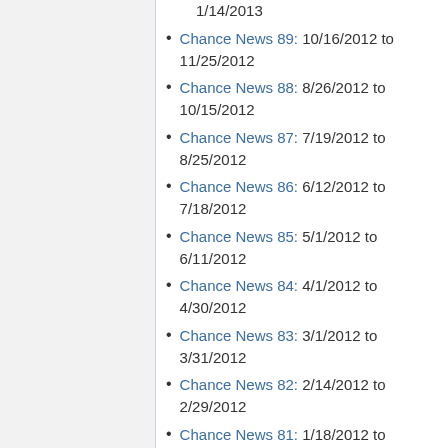1/14/2013
Chance News 89: 10/16/2012 to 11/25/2012
Chance News 88: 8/26/2012 to 10/15/2012
Chance News 87: 7/19/2012 to 8/25/2012
Chance News 86: 6/12/2012 to 7/18/2012
Chance News 85: 5/1/2012 to 6/11/2012
Chance News 84: 4/1/2012 to 4/30/2012
Chance News 83: 3/1/2012 to 3/31/2012
Chance News 82: 2/14/2012 to 2/29/2012
Chance News 81: 1/18/2012 to 2/13/2012
Chance News 80: 10/22/2011 to